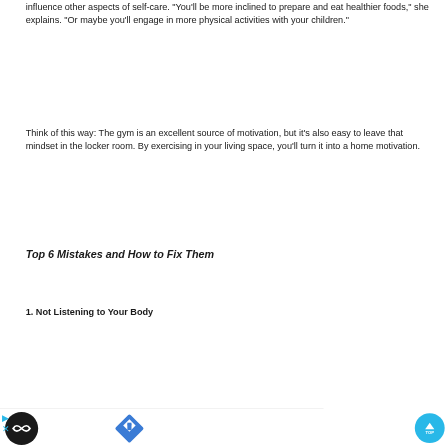influence other aspects of self-care. "You'll be more inclined to prepare and eat healthier foods," she explains. "Or maybe you'll engage in more physical activities with your children."
Think of this way: The gym is an excellent source of motivation, but it's also easy to leave that mindset in the locker room. By exercising in your living space, you'll turn it into a home motivation.
Top 6 Mistakes and How to Fix Them
1. Not Listening to Your Body